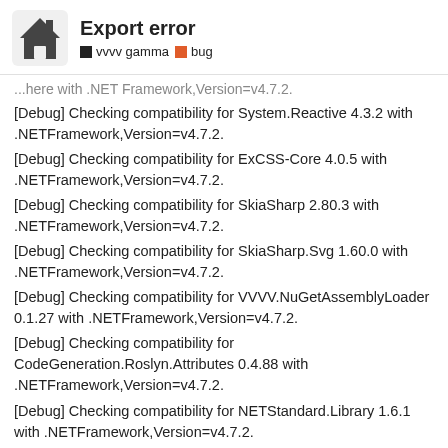Export error
vvvv gamma bug
...here with .NET Framework,Version=v4.7.2.
[Debug] Checking compatibility for System.Reactive 4.3.2 with .NETFramework,Version=v4.7.2.
[Debug] Checking compatibility for ExCSS-Core 4.0.5 with .NETFramework,Version=v4.7.2.
[Debug] Checking compatibility for SkiaSharp 2.80.3 with .NETFramework,Version=v4.7.2.
[Debug] Checking compatibility for SkiaSharp.Svg 1.60.0 with .NETFramework,Version=v4.7.2.
[Debug] Checking compatibility for VVVV.NuGetAssemblyLoader 0.1.27 with .NETFramework,Version=v4.7.2.
[Debug] Checking compatibility for CodeGeneration.Roslyn.Attributes 0.4.88 with .NETFramework,Version=v4.7.2.
[Debug] Checking compatibility for NETStandard.Library 1.6.1 with .NETFramework,Version=v4.7.2.
[Debug] Checking compatibility for Validati... .NETFramework,Version=v4.7.2.
[Debug] Checking compatibility for ...
1 / 8